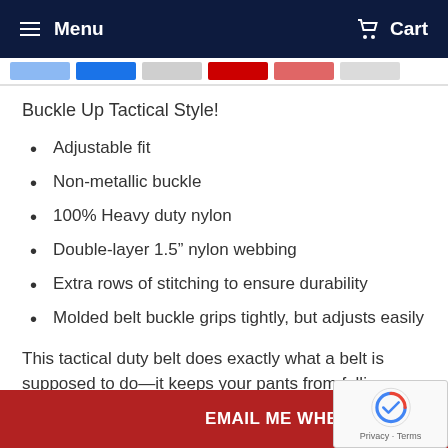Menu  Cart
Buckle Up Tactical Style!
Adjustable fit
Non-metallic buckle
100% Heavy duty nylon
Double-layer 1.5” nylon webbing
Extra rows of stitching to ensure durability
Molded belt buckle grips tightly, but adjusts easily
This tactical duty belt does exactly what a belt is supposed to do—it keeps your pants from falling down! Neutrally sand-colored to mesh perfectly with most colors, the... h most pant st... n which case you
EMAIL ME WHEN AVAILABLE